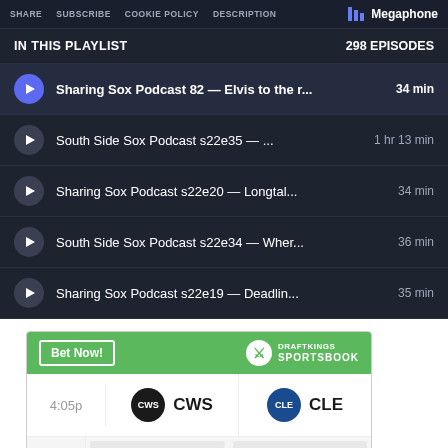SHARE  SUBSCRIBE  COOKIE POLICY  DESCRIPTION  Megaphone
IN THIS PLAYLIST  298 EPISODES
Sharing Sox Podcast 82 — Elvis to the r...  34 min
South Side Sox Podcast s22e35 — ...  1 hr 13 min
Sharing Sox Podcast s22e20 — Longtal...  34 min
South Side Sox Podcast s22e34 — Wher... 36 min
Sharing Sox Podcast s22e19 — Deadlin...  35 min
[Figure (infographic): DraftKings Sportsbook betting widget showing a game at 4:05p between CWS and CLE with a Bet Now button]